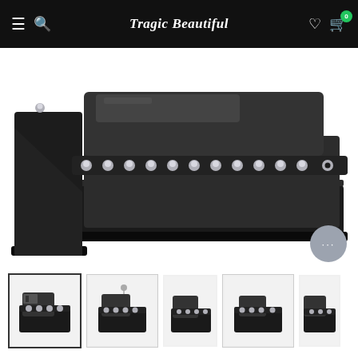Tragic Beautiful — navigation header with menu, search, logo, wishlist, cart (0)
[Figure (photo): Close-up of black platform heels with studded trim. Large chunky block heel and thick platform sole in black suede/faux suede material. Silver dome studs along the upper strap edge.]
[Figure (photo): Thumbnail gallery showing 4 views of black platform heeled shoes with buckle straps and studded details.]